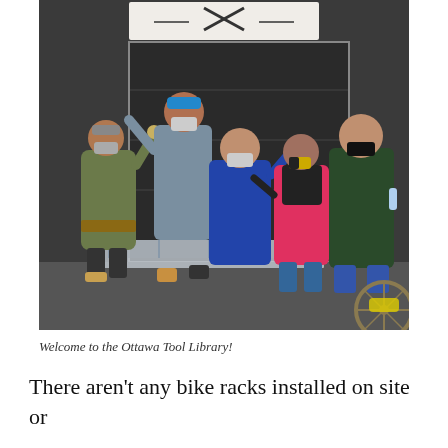[Figure (photo): Five people wearing face masks posing in front of a large dark garage door. A metal ladder is propped in front. A sign with crossed hammers is visible above the door. The people are waving and making gestures. One person in a pink jacket is in the center. There is a bicycle wheel visible in the bottom right corner.]
Welcome to the Ottawa Tool Library!
There aren't any bike racks installed on site or